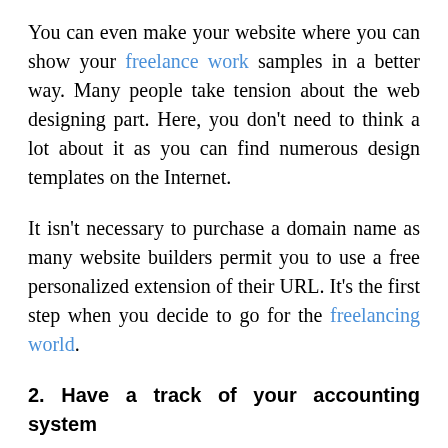You can even make your website where you can show your freelance work samples in a better way. Many people take tension about the web designing part. Here, you don't need to think a lot about it as you can find numerous design templates on the Internet.
It isn't necessary to purchase a domain name as many website builders permit you to use a free personalized extension of their URL. It's the first step when you decide to go for the freelancing world.
2. Have a track of your accounting system
Different clients have different procedures and have their deadlines to submit invoices. Over here, you need to be careful and find an easy way out to track